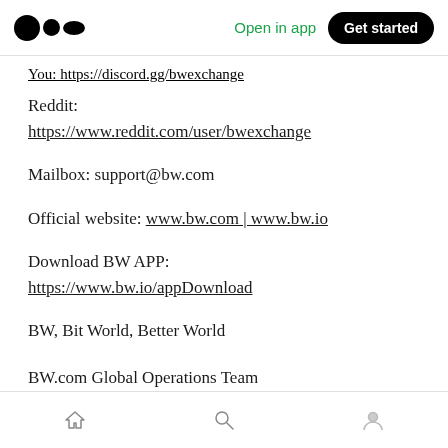Open in app | Get started
You: https://discord.gg/bwexchange
Reddit:
https://www.reddit.com/user/bwexchange
Mailbox: support@bw.com
Official website: www.bw.com | www.bw.io
Download BW APP:
https://www.bw.io/appDownload
BW, Bit World, Better World
BW.com Global Operations Team
Home | Search | Profile